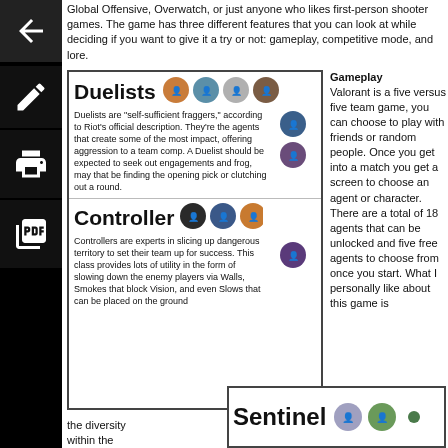Global Offensive, Overwatch, or just anyone who likes first-person shooter games. The game has three different features that you can look at while deciding if you want to give it a try or not: gameplay, competitive mode, and lore.
[Figure (infographic): Valorant Duelists and Controller class descriptions with character face icons. Duelists: 'Duelists are "self-sufficient fraggers," according to Riot's official description. They're the agents that create some of the most impact, offering aggression to a team comp. A Duelist should be expected to seek out engagements and frog, may that be finding the opening pick or clutching out a round.' Controller: 'Controllers are experts in slicing up dangerous territory to set their team up for success. This class provides lots of utility in the form of slowing down the enemy players via Walls, Smokes that block Vision, and even Slows that can be placed on the ground']
Gameplay
Valorant is a five versus five team game, you can choose to play with friends or random people. Once you get into a match you get a screen to choose an agent or character. There are a total of 18 agents that can be unlocked and five free agents to choose from once you start. What I personally like about this game is
the diversity
within the
[Figure (infographic): Sentinel class card with title 'Sentinel' and character face icons]